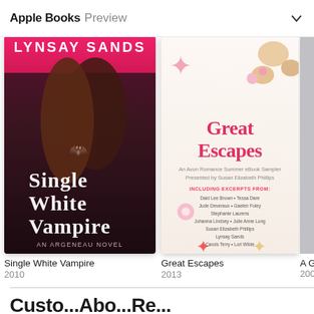Apple Books Preview
[Figure (illustration): Book cover: Single White Vampire by Lynsay Sands, An Argeneau Novel. Dark romantic cover with couple, bat tattoo, pink/magenta top banner with author name in white, gothic white title text.]
Single White Vampire
2010
[Figure (illustration): Book cover: Great Escapes - An Avon Romance Summer eBook Sampler Presented by Susan Elizabeth Phillips. White cover with seashells, starfish, pink flowers. Red/pink title text. Including excerpts from: Daid Lee Brown, Tessa Dare, Jude Deveraux, Gaelen Foley, Stephanie Laurens, Johanna Lindsey, Julie Anne Long, Susan Elizabeth Phillips, Lynsay Sands, Carols Terry, Lori Wilde, Kathleen E. Woodiwiss.]
Great Escapes
2013
[Figure (illustration): Partially visible third book cover, cropped on right edge.]
A G...
200...
Custo...Abo...Re...